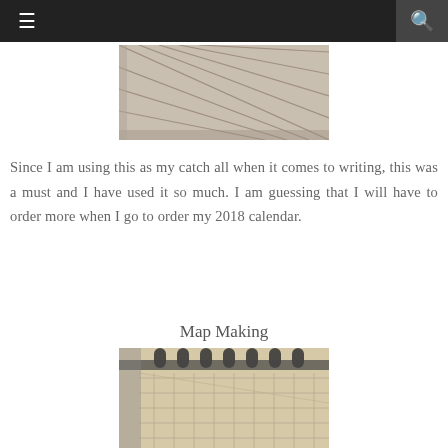☰ [navigation] 🔍 [search]
[Figure (photo): Close-up photo of lined notebook paper, showing diagonal ruled lines on white/cream paper]
Since I am using this as my catch all when it comes to writing, this was a must and I have used it so much. I am guessing that I will have to order more when I go to order my 2018 calendar.
Map Making
[Figure (photo): Close-up photo of a spiral-bound notebook with grid/graph paper, showing black binding rings at top and cream-colored graph paper]